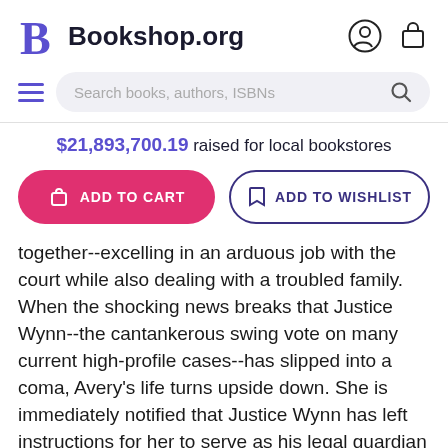Bookshop.org
$21,893,700.19 raised for local bookstores
ADD TO CART   ADD TO WISHLIST
together--excelling in an arduous job with the court while also dealing with a troubled family. When the shocking news breaks that Justice Wynn--the cantankerous swing vote on many current high-profile cases--has slipped into a coma, Avery's life turns upside down. She is immediately notified that Justice Wynn has left instructions for her to serve as his legal guardian and power of attorney. Plunged into an explosive role she never anticipated, Avery finds that Justice Wynn had been secretly researching one of the most controversial